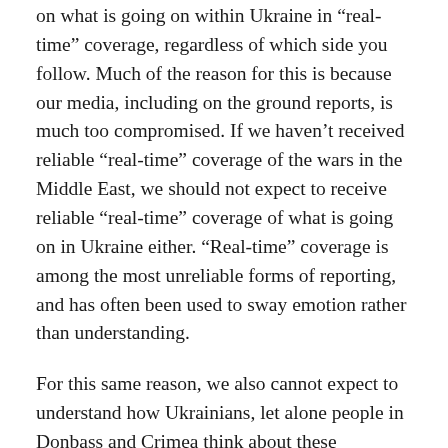on what is going on within Ukraine in “real-time” coverage, regardless of which side you follow. Much of the reason for this is because our media, including on the ground reports, is much too compromised. If we haven’t received reliable “real-time” coverage of the wars in the Middle East, we should not expect to receive reliable “real-time” coverage of what is going on in Ukraine either. “Real-time” coverage is among the most unreliable forms of reporting, and has often been used to sway emotion rather than understanding.
For this same reason, we also cannot expect to understand how Ukrainians, let alone people in Donbass and Crimea think about these developments over the next few weeks.
Crimea voted to rejoin Russia on March 18, 2014. This